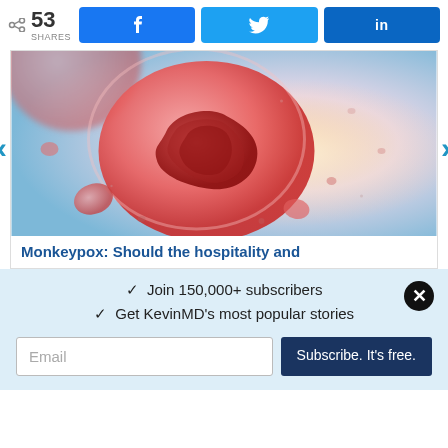< 53 SHARES  [Facebook]  [Twitter]  [LinkedIn]
[Figure (illustration): Medical illustration of a monkeypox virus / blood cell under microscope — large pink-red cell with darker nucleus, surrounded by smaller red cells on a blue-to-peach gradient background.]
Monkeypox: Should the hospitality and
✓  Join 150,000+ subscribers
✓  Get KevinMD's most popular stories
Email  Subscribe. It's free.